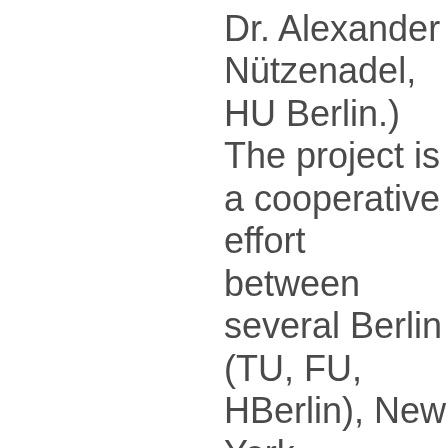Dr. Alexander Nützenadel, HU Berlin.)  The project is a cooperative effort between several Berlin (TU, FU, HU Berlin), New York (Columbia University, Fordham University, New York University,